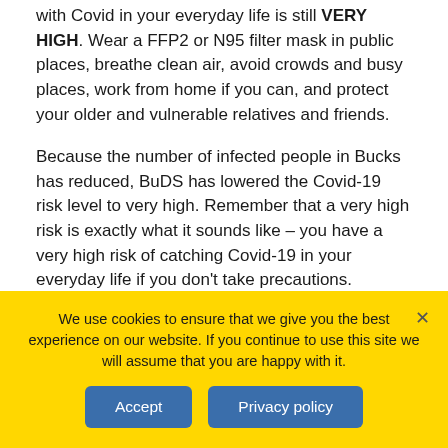with Covid in your everyday life is still VERY HIGH. Wear a FFP2 or N95 filter mask in public places, breathe clean air, avoid crowds and busy places, work from home if you can, and protect your older and vulnerable relatives and friends.
Because the number of infected people in Bucks has reduced, BuDS has lowered the Covid-19 risk level to very high. Remember that a very high risk is exactly what it sounds like – you have a very high risk of catching Covid-19 in your everyday life if you don't take precautions.
BuDS will let continue to keep you up to date every
We use cookies to ensure that we give you the best experience on our website. If you continue to use this site we will assume that you are happy with it.